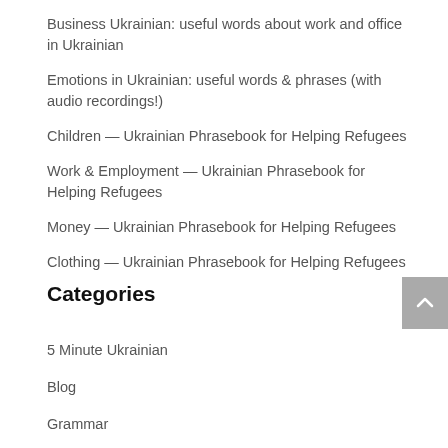Business Ukrainian: useful words about work and office in Ukrainian
Emotions in Ukrainian: useful words & phrases (with audio recordings!)
Children — Ukrainian Phrasebook for Helping Refugees
Work & Employment — Ukrainian Phrasebook for Helping Refugees
Money — Ukrainian Phrasebook for Helping Refugees
Clothing — Ukrainian Phrasebook for Helping Refugees
Categories
5 Minute Ukrainian
Blog
Grammar
Phrasebook